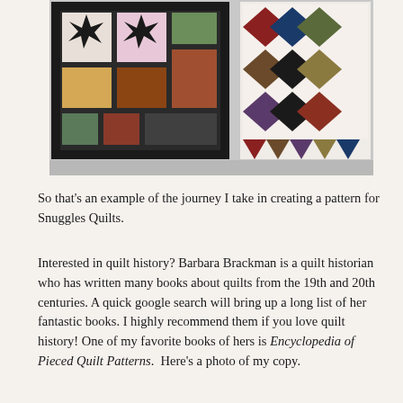[Figure (photo): Two patchwork quilts displayed against a light grey wall. The left quilt has a dark border with star and geometric block patterns in multicolored fabrics. The right quilt is white-background with geometric patterns in jewel-toned and earth-toned fabrics.]
So that’s an example of the journey I take in creating a pattern for Snuggles Quilts.
Interested in quilt history? Barbara Brackman is a quilt historian who has written many books about quilts from the 19th and 20th centuries. A quick google search will bring up a long list of her fantastic books. I highly recommend them if you love quilt history! One of my favorite books of hers is Encyclopedia of Pieced Quilt Patterns. Here’s a photo of my copy.